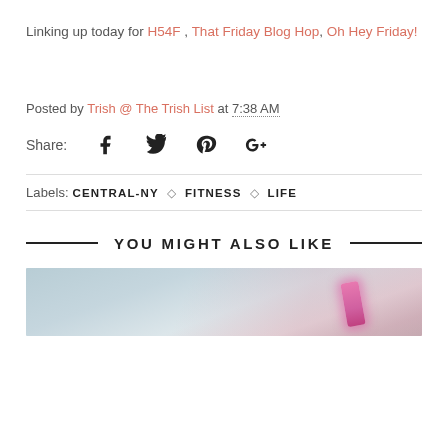Linking up today for H54F , That Friday Blog Hop, Oh Hey Friday!
Posted by Trish @ The Trish List at 7:38 AM
Share: [Facebook] [Twitter] [Pinterest] [Google+]
Labels: CENTRAL-NY ◇ FITNESS ◇ LIFE
YOU MIGHT ALSO LIKE
[Figure (photo): Partial photo visible at bottom of page, appears to be a gym or fitness-related image with a pink/purple neon light element]